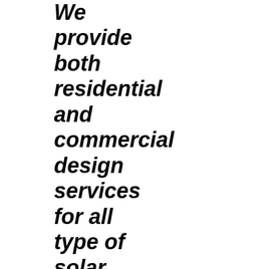We provide both residential and commercial design services for all type of solar energy systems. Most popular now are Air source mini split heat pumps that can cut heating